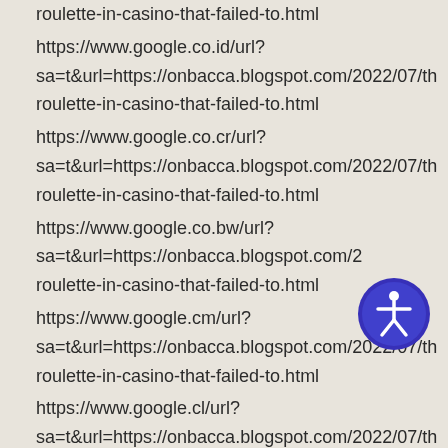roulette-in-casino-that-failed-to.html
https://www.google.co.id/url?
sa=t&url=https://onbacca.blogspot.com/2022/07/th
roulette-in-casino-that-failed-to.html
https://www.google.co.cr/url?
sa=t&url=https://onbacca.blogspot.com/2022/07/th
roulette-in-casino-that-failed-to.html
https://www.google.co.bw/url?
sa=t&url=https://onbacca.blogspot.com/2
roulette-in-casino-that-failed-to.html
https://www.google.cm/url?
sa=t&url=https://onbacca.blogspot.com/2022/07/th
roulette-in-casino-that-failed-to.html
https://www.google.cl/url?
sa=t&url=https://onbacca.blogspot.com/2022/07/th
roulette-in-casino-that-failed-to.html
[Figure (illustration): Accessibility icon button - blue circle with white human figure inside, positioned bottom right area]